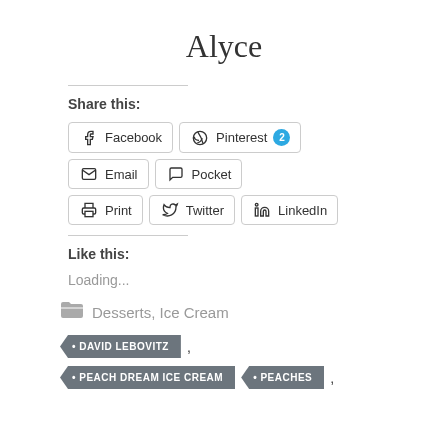Alyce
Share this:
Facebook  Pinterest 2  Email  Pocket  Print  Twitter  LinkedIn
Like this:
Loading...
Desserts, Ice Cream
DAVID LEBOVITZ
PEACH DREAM ICE CREAM
PEACHES